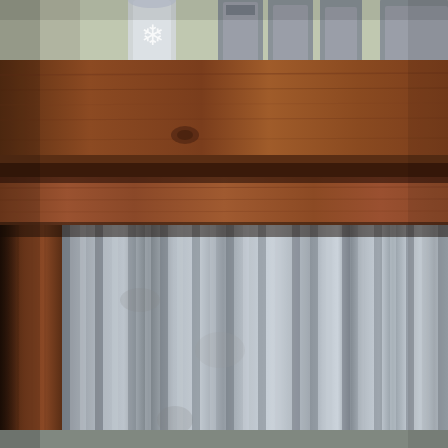[Figure (photo): Close-up photograph of a rustic wooden console table with dark walnut stain. The table top is made of thick stained pine boards. The legs are wooden posts. The lower portion/skirt of the table features corrugated galvanized metal panels. On top of the table are decorative items including a glass votive candle holder and metal letter/number block decorations. The background shows an outdoor patio setting with blurred chairs and greenery.]